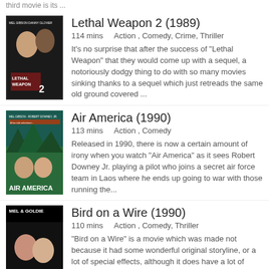third movie is its ...
Lethal Weapon 2 (1989)
114 mins    Action , Comedy, Crime, Thriller
It's no surprise that after the success of "Lethal Weapon" that they would come up with a sequel, a notoriously dodgy thing to do with so many movies sinking thanks to a sequel which just retreads the same old ground covered ...
Air America (1990)
113 mins    Action , Comedy
Released in 1990, there is now a certain amount of irony when you watch "Air America" as it sees Robert Downey Jr. playing a pilot who joins a secret air force team in Laos where he ends up going to war with those running the...
Bird on a Wire (1990)
110 mins    Action , Comedy, Thriller
"Bird on a Wire" is a movie which was made not because it had some wonderful original storyline, or a lot of special effects, although it does have a lot of chase sequences, nope it appears to have been made because someone w...